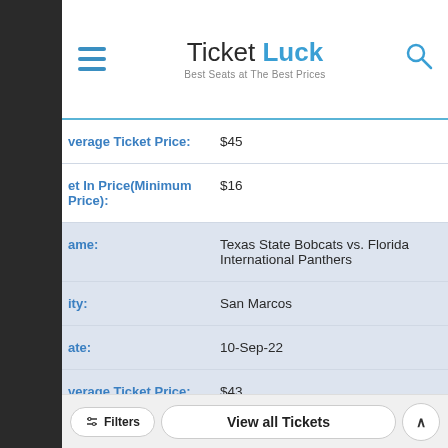Ticket Luck – Best Seats at The Best Prices
| Field | Value |
| --- | --- |
| Average Ticket Price: | $45 |
| Get In Price(Minimum Price): | $16 |
| Game: | Texas State Bobcats vs. Florida International Panthers |
| City: | San Marcos |
| Date: | 10-Sep-22 |
| Average Ticket Price: | $43 |
Filters | View all Tickets | ^